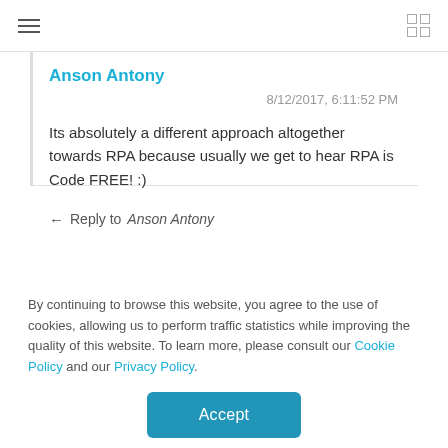≡  ⊞
Anson Antony
8/12/2017, 6:11:52 PM
Its absolutely a different approach altogether towards RPA because usually we get to hear RPA is Code FREE! :)
← Reply to Anson Antony
By continuing to browse this website, you agree to the use of cookies, allowing us to perform traffic statistics while improving the quality of this website. To learn more, please consult our Cookie Policy and our Privacy Policy.
Accept